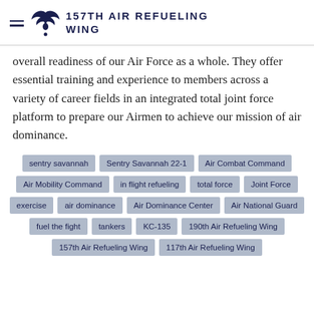157TH AIR REFUELING WING
overall readiness of our Air Force as a whole. They offer essential training and experience to members across a variety of career fields in an integrated total joint force platform to prepare our Airmen to achieve our mission of air dominance.
sentry savannah
Sentry Savannah 22-1
Air Combat Command
Air Mobility Command
in flight refueling
total force
Joint Force
exercise
air dominance
Air Dominance Center
Air National Guard
fuel the fight
tankers
KC-135
190th Air Refueling Wing
157th Air Refueling Wing
117th Air Refueling Wing